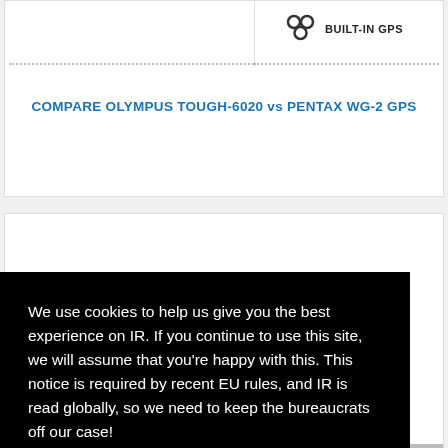[Figure (illustration): GPS icon (overlapping circles/nodes) with label BUILT-IN GPS]
COMPARE OLYMPUS TOUGH-6020 vs PENTAX WG-2 GPS
[Figure (photo): Partial view of a camera on the right side]
We use cookies to help us give you the best experience on IR. If you continue to use this site, we will assume that you're happy with this. This notice is required by recent EU rules, and IR is read globally, so we need to keep the bureaucrats off our case!
Learn more
Got it!